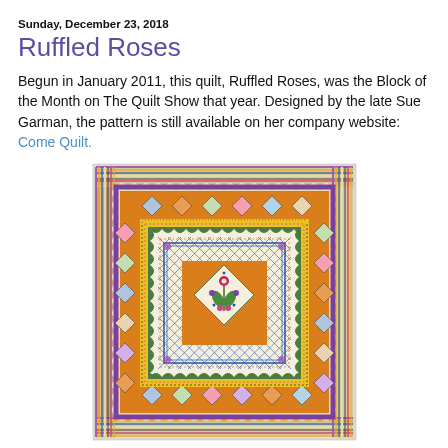Sunday, December 23, 2018
Ruffled Roses
Begun in January 2011, this quilt, Ruffled Roses, was the Block of the Month on The Quilt Show that year. Designed by the late Sue Garman, the pattern is still available on her company website: Come Quilt.
[Figure (photo): A colorful medallion-style quilt called Ruffled Roses, featuring a central floral appliqué block surrounded by multiple borders including a diagonal lattice border, a scalloped green border, yellow sashing, basket blocks, orange pieced border, and a scalloped striped outer border. The quilt is displayed hanging on a wall.]